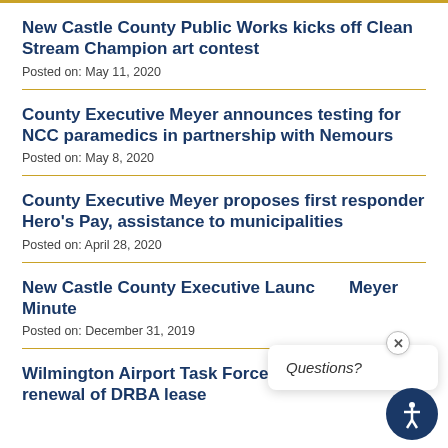New Castle County Public Works kicks off Clean Stream Champion art contest
Posted on: May 11, 2020
County Executive Meyer announces testing for NCC paramedics in partnership with Nemours
Posted on: May 8, 2020
County Executive Meyer proposes first responder Hero's Pay, assistance to municipalities
Posted on: April 28, 2020
New Castle County Executive Launches Meyer Minute
Posted on: December 31, 2019
Wilmington Airport Task Force recommends non-renewal of DRBA lease